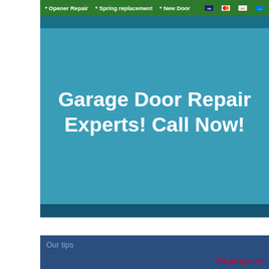* Opener Repair   * Spring replacement   * New Door
Garage Door Repair Experts! Call Now!
Our tips
For all tips >>